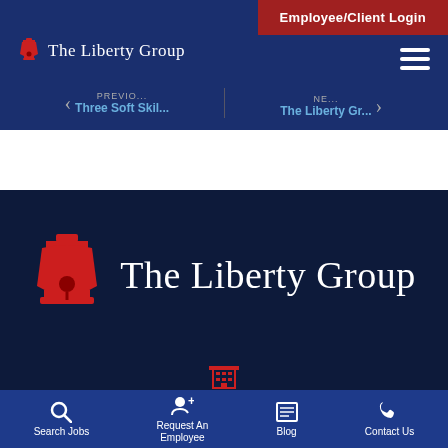[Figure (screenshot): The Liberty Group website navigation bar with Employee/Client Login button, logo, hamburger menu, and navigation links to Three Soft Skil... and The Liberty Gr...]
[Figure (logo): The Liberty Group large logo with Liberty Bell icon on dark navy background]
[Figure (other): Red building/office icon on dark navy background]
Search Jobs | Request An Employee | Blog | Contact Us